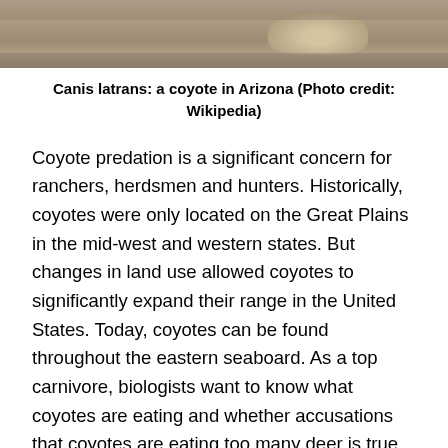[Figure (photo): A coyote photographed in Arizona, showing the animal from above against a rocky/sandy ground surface. Partial view showing the back and legs of the coyote.]
Canis latrans: a coyote in Arizona (Photo credit: Wikipedia)
Coyote predation is a significant concern for ranchers, herdsmen and hunters. Historically, coyotes were only located on the Great Plains in the mid-west and western states. But changes in land use allowed coyotes to significantly expand their range in the United States. Today, coyotes can be found throughout the eastern seaboard. As a top carnivore, biologists want to know what coyotes are eating and whether accusations that coyotes are eating too many deer is true or not.
Research on coyote scats has revealed that 2/3 of coyote scats studied in 2011 contained deer remains. In other words, coyotes were eating...